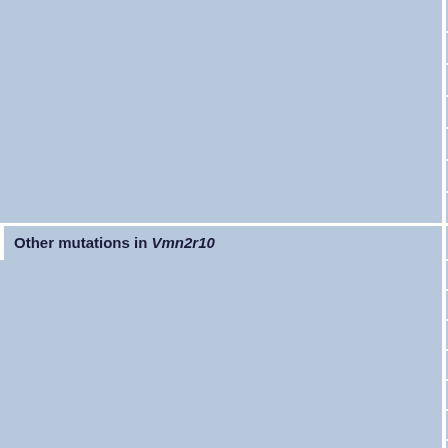|  | Other mutations in Vmn2r10 | A |
| --- | --- | --- |
|  |  | Z |
|  |  | Z |
|  |  | Z |
|  |  | Z |
|  |  | Z |
|  |  | Z |
|  |  | Z |
|  | Other mutations in Vmn2r10 | A |
|  |  | IC |
|  |  | IC |
|  |  | IC |
|  |  | IC |
|  |  | IC |
|  |  | IC |
|  |  | IC |
|  |  | IC |